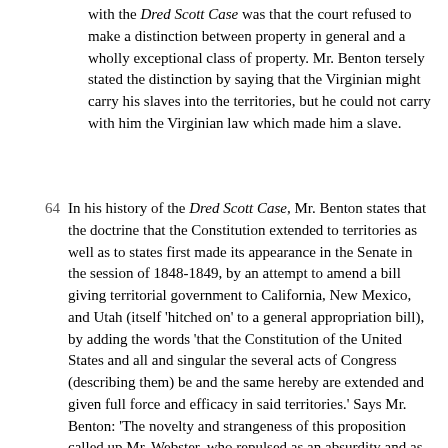with the Dred Scott Case was that the court refused to make a distinction between property in general and a wholly exceptional class of property. Mr. Benton tersely stated the distinction by saying that the Virginian might carry his slaves into the territories, but he could not carry with him the Virginian law which made him a slave.
64 In his history of the Dred Scott Case, Mr. Benton states that the doctrine that the Constitution extended to territories as well as to states first made its appearance in the Senate in the session of 1848-1849, by an attempt to amend a bill giving territorial government to California, New Mexico, and Utah (itself 'hitched on' to a general appropriation bill), by adding the words 'that the Constitution of the United States and all and singular the several acts of Congress (describing them) be and the same hereby are extended and given full force and efficacy in said territories.' Says Mr. Benton: 'The novelty and strangeness of this proposition called up Mr. Webster, who repulsed as an absurdity and as an impossibility the scheme of extending the Constitution to the territories, declaring that instrument to have been made for states, not territories; that Congress governed the territories independently of the Constitution and incompatibly with it; that no part of it went to a territory but what Congress chose to send; that it could not act of itself anywhere, not even in the states for which it was made, and